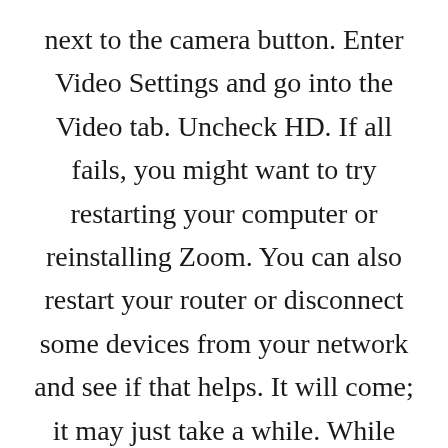next to the camera button. Enter Video Settings and go into the Video tab. Uncheck HD. If all fails, you might want to try restarting your computer or reinstalling Zoom. You can also restart your router or disconnect some devices from your network and see if that helps. It will come; it may just take a while. While most activation emails are sent within seconds, some may take up to 30 minutes. The biggest one is that group meetings can only last for a maximum of 40